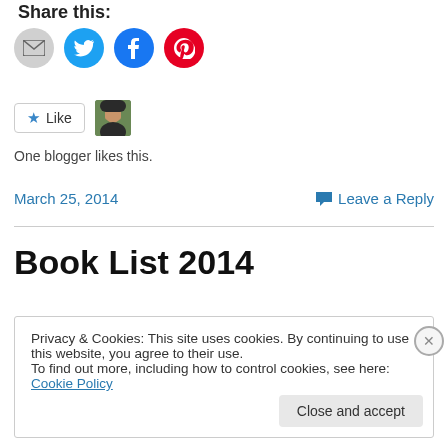Share this:
[Figure (illustration): Row of social sharing icon buttons: email (grey circle), Twitter (blue circle), Facebook (blue circle), Pinterest (red circle)]
[Figure (illustration): Like button with star icon and a blogger avatar thumbnail. Text: One blogger likes this.]
One blogger likes this.
March 25, 2014    Leave a Reply
Book List 2014
Privacy & Cookies: This site uses cookies. By continuing to use this website, you agree to their use. To find out more, including how to control cookies, see here: Cookie Policy